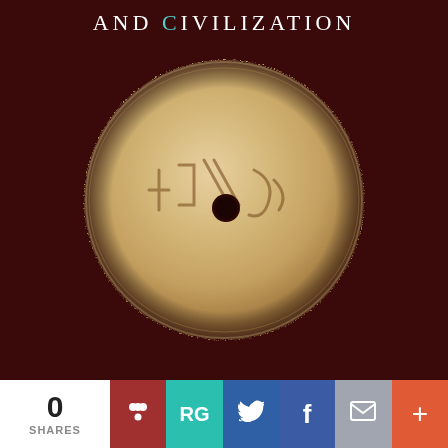AND CIVILIZATION
[Figure (photo): Ancient round clay or stone disk with a hole in the center, inscribed with ancient script or symbols, photographed against a dark brown background.]
0
SHARES
[Figure (logo): Social sharing buttons: Mendeley (red), ResearchGate RG (teal), Twitter (blue), Facebook (blue), Email (gray), Plus/more (orange)]